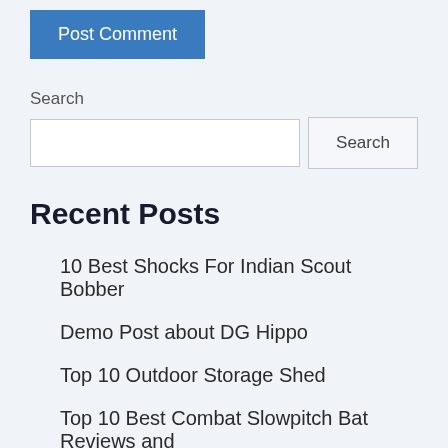Post Comment
Search
Recent Posts
10 Best Shocks For Indian Scout Bobber
Demo Post about DG Hippo
Top 10 Outdoor Storage Shed
Top 10 Best Combat Slowpitch Bat Reviews and